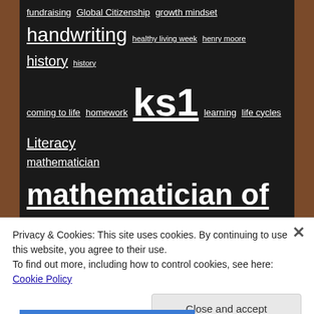fundraising Global Citizenship growth mindset handwriting healthy living week henry moore history history coming to life homework ks1 learning life cycles Literacy mathematician mathematician of the week maths multiplication music nativity Newsletters ones pantomime Parental Involvement parents party PE Pearl Class perseverance Phonics poems Poetry Pride of Prince Edward proud PSHE puppets Reading Safety Week Science sculpture sewing singing soldiers
Privacy & Cookies: This site uses cookies. By continuing to use this website, you agree to their use. To find out more, including how to control cookies, see here: Cookie Policy
Close and accept